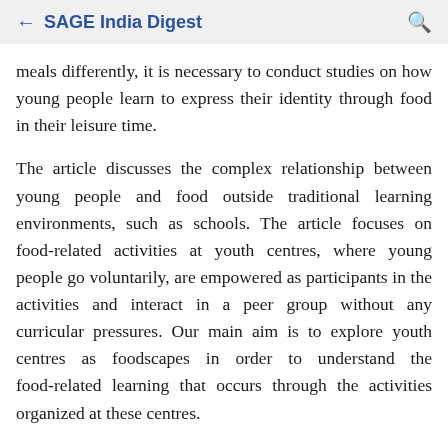← SAGE India Digest 🔍
meals differently, it is necessary to conduct studies on how young people learn to express their identity through food in their leisure time.
The article discusses the complex relationship between young people and food outside traditional learning environments, such as schools. The article focuses on food-related activities at youth centres, where young people go voluntarily, are empowered as participants in the activities and interact in a peer group without any curricular pressures. Our main aim is to explore youth centres as foodscapes in order to understand the food-related learning that occurs through the activities organized at these centres.